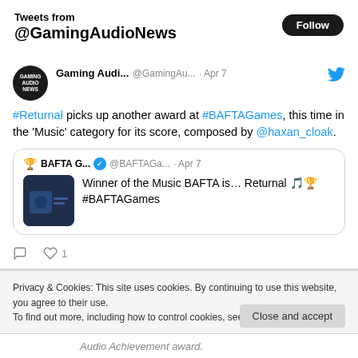Tweets from @GamingAudioNews
Gaming Audi... @GamingAu... · Apr 7 — #Returnal picks up another award at #BAFTAGames, this time in the 'Music' category for its score, composed by @haxan_cloak.
BAFTA G... @BAFTAGa... · Apr 7 — Winner of the Music BAFTA is… Returnal 🎵🏆 #BAFTAGames
1 like
Privacy & Cookies: This site uses cookies. By continuing to use this website, you agree to their use.
To find out more, including how to control cookies, see here: Cookie Policy
Close and accept
Audio Achievement award.